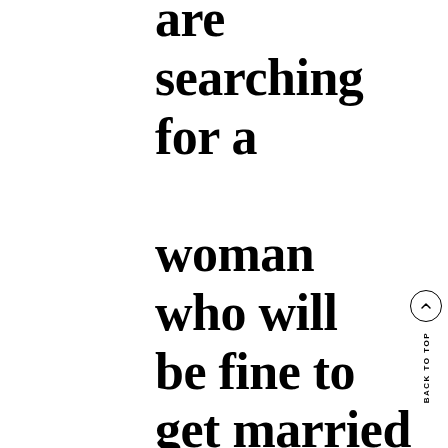are searching for a woman who will be fine to get married to. In case you are also a